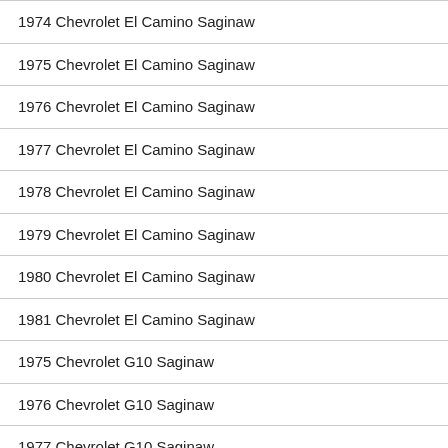1974 Chevrolet El Camino Saginaw
1975 Chevrolet El Camino Saginaw
1976 Chevrolet El Camino Saginaw
1977 Chevrolet El Camino Saginaw
1978 Chevrolet El Camino Saginaw
1979 Chevrolet El Camino Saginaw
1980 Chevrolet El Camino Saginaw
1981 Chevrolet El Camino Saginaw
1975 Chevrolet G10 Saginaw
1976 Chevrolet G10 Saginaw
1977 Chevrolet G10 Saginaw
1978 Chevrolet G10 Saginaw
1979 Chevrolet G10 Saginaw